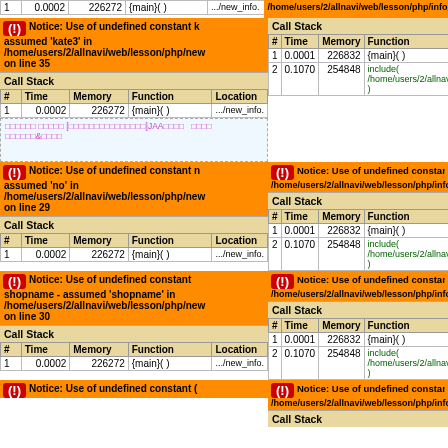1 | 0.0002 | 226272 | {main}() | .../new_info.
/home/users/2/allnavi/web/lesson/php/info_resu
| # | Time | Memory | Function |
| --- | --- | --- | --- |
| 1 | 0.0001 | 226832 | {main}( ) |
| 2 | 0.1070 | 254848 | include( '/home/users/2/allnavi/web/less )' |
Notice: Use of undefined constant kate3 - assumed 'kate3' in /home/users/2/allnavi/web/lesson/php/new on line 35
| # | Time | Memory | Function | Location |
| --- | --- | --- | --- | --- |
| 1 | 0.0002 | 226272 | {main}( ) | .../new_info. |
Notice: Use of undefined constant title
/home/users/2/allnavi/web/lesson/php/info_resu
| # | Time | Memory | Function |
| --- | --- | --- | --- |
| 1 | 0.0001 | 226832 | {main}( ) |
| 2 | 0.1070 | 254848 | include( '/home/users/2/allnavi/web/less )' |
Notice: Use of undefined constant no - assumed 'no' in /home/users/2/allnavi/web/lesson/php/new on line 29
| # | Time | Memory | Function | Location |
| --- | --- | --- | --- | --- |
| 1 | 0.0002 | 226272 | {main}( ) | .../new_info. |
Notice: Use of undefined constant jyus
/home/users/2/allnavi/web/lesson/php/info_resu
| # | Time | Memory | Function |
| --- | --- | --- | --- |
| 1 | 0.0001 | 226832 | {main}( ) |
| 2 | 0.1070 | 254848 | include( '/home/users/2/allnavi/web/less )' |
Notice: Use of undefined constant shopname - assumed 'shopname' in /home/users/2/allnavi/web/lesson/php/new on line 30
| # | Time | Memory | Function | Location |
| --- | --- | --- | --- | --- |
| 1 | 0.0002 | 226272 | {main}( ) | .../new_info. |
Notice: Use of undefined constant url -
/home/users/2/allnavi/web/lesson/php/info_resu
Notice: Use of undefined constant (truncated)